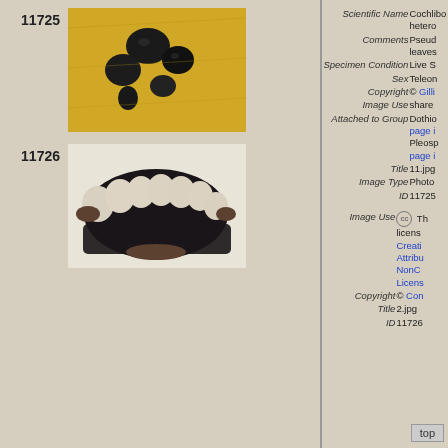11725
[Figure (photo): Macro photograph of dark fungal structures (pycnidia/ascomata) on yellow-orange leaf tissue]
Scientific Name  Cochliobolus heterod... Comments  Pseud... leaves... Specimen Condition  Live S... Sex  Teleon... Copyright  © Gilli... Image Use  share Attached to Group  Dothio... page i... Pleosp... page i... Title  11.jpg Image Type  Photo... ID  11725
11726
[Figure (photo): Microscopic cross-section image showing fungal ascomata with asci containing ascospores, in black and white]
Image Use  (cc) Th... license... Creati... Attribu... NonC... Licens... Copyright  © Con... Title  2.jpg ID  11726
Please note: Most images and other media displayed